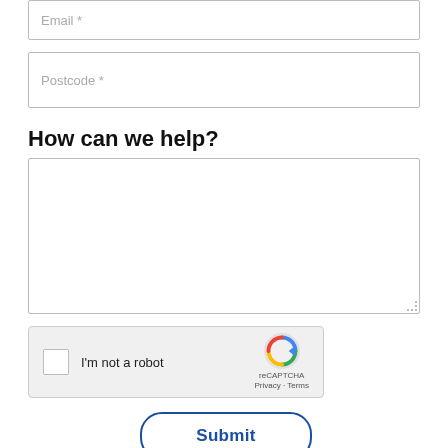Email *
Postcode *
How can we help?
[Figure (screenshot): reCAPTCHA widget with checkbox labeled 'I'm not a robot', Google reCAPTCHA logo, Privacy and Terms links]
Submit